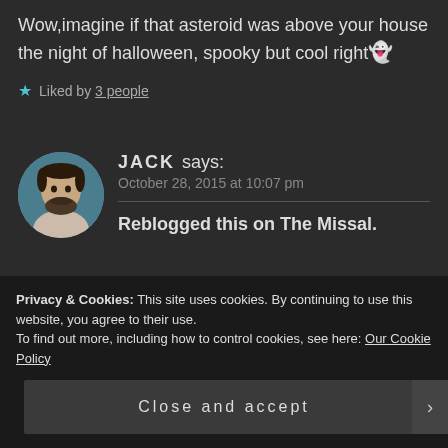Wow,imagine if that asteroid was above your house the night of halloween, spooky but cool right👻
★ Liked by 3 people
JACK says:
October 28, 2015 at 10:07 pm
Reblogged this on The Missal.
Privacy & Cookies: This site uses cookies. By continuing to use this website, you agree to their use.
To find out more, including how to control cookies, see here: Our Cookie Policy
Close and accept